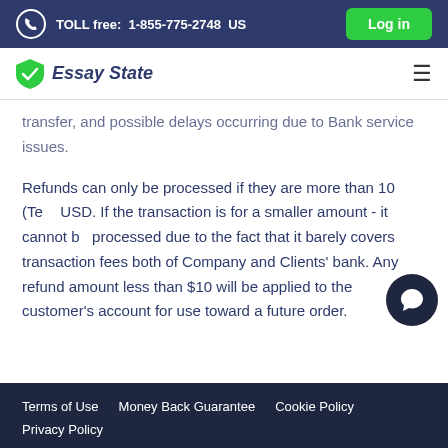TOLL free: 1-855-775-2748 US | Log in
Essay State
transfer, and possible delays occurring due to Bank service issues.
Refunds can only be processed if they are more than 10 (Ten) USD. If the transaction is for a smaller amount - it cannot be processed due to the fact that it barely covers transaction fees both of Company and Clients' bank. Any refund amount less than $10 will be applied to the customer's account for use toward a future order.
Terms of Use   Money Back Guarantee   Cookie Policy   Privacy Policy